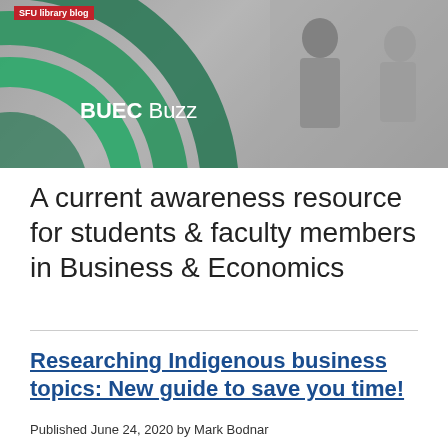[Figure (photo): BUEC Buzz banner image with green concentric arcs on left and business people in greyscale on right, with SFU library blog label in red top left and BUEC Buzz text overlay]
A current awareness resource for students & faculty members in Business & Economics
Researching Indigenous business topics: New guide to save you time!
Published June 24, 2020 by Mark Bodnar